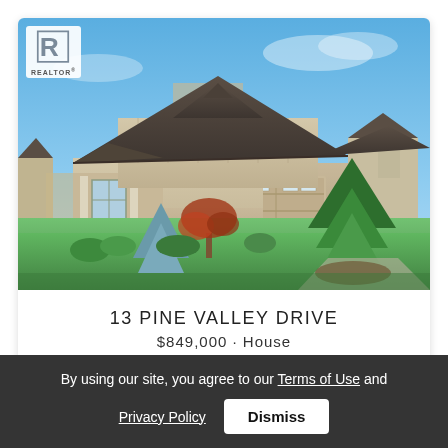[Figure (photo): Exterior photo of a craftsman-style two-storey house with attached garage, green lawn, ornamental trees, blue sky background. REALTOR logo in top-left corner.]
13 PINE VALLEY DRIVE
$849,000 House
By using our site, you agree to our Terms of Use and Privacy Policy  Dismiss